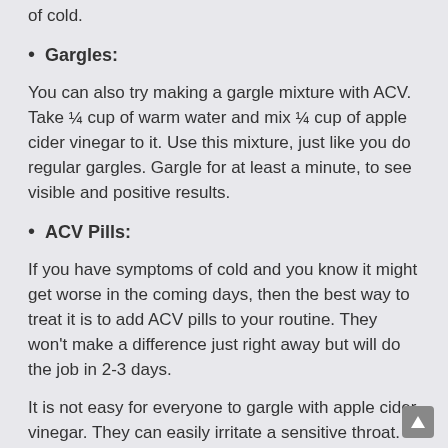of cold.
Gargles:
You can also try making a gargle mixture with ACV. Take ¼ cup of warm water and mix ¼ cup of apple cider vinegar to it. Use this mixture, just like you do regular gargles. Gargle for at least a minute, to see visible and positive results.
ACV Pills:
If you have symptoms of cold and you know it might get worse in the coming days, then the best way to treat it is to add ACV pills to your routine. They won't make a difference just right away but will do the job in 2-3 days.
It is not easy for everyone to gargle with apple cider vinegar. They can easily irritate a sensitive throat. Therefore, pills are always a safer option.